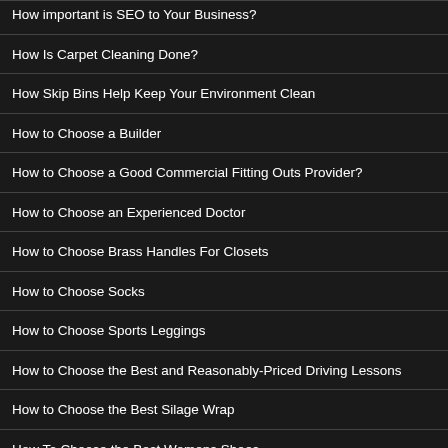How important is SEO to Your Business?
How Is Carpet Cleaning Done?
How Skip Bins Help Keep Your Environment Clean
How to Choose a Builder
How to Choose a Good Commercial Fitting Outs Provider?
How to Choose an Experienced Doctor
How to Choose Brass Handles For Closets
How to Choose Socks
How to Choose Sports Leggings
How to Choose the Best and Reasonably-Priced Driving Lessons
How to Choose the Best Silage Wrap
How To Choose the Best Womens Shoes
How to Determine the Cost of Building a Retaining Wall